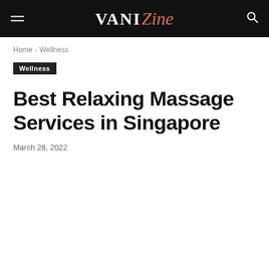VANIZine
Home › Wellness
Wellness
Best Relaxing Massage Services in Singapore
March 28, 2022